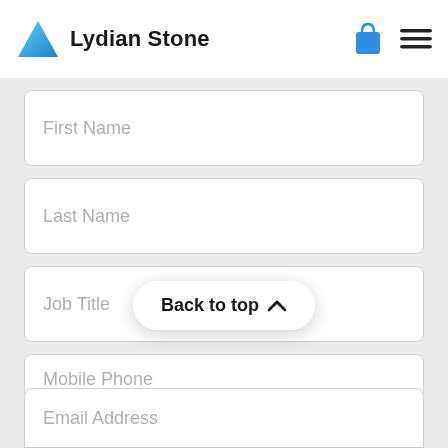Lydian Stone
First Name
Last Name
Job Title
Mobile Phone
Back to top ^
Email Address